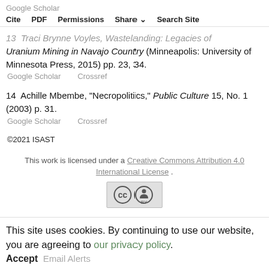Google Scholar
Cite  PDF  Permissions  Share  Search Site
13  Traci Brynne Voyles, Wastelanding: Legacies of Uranium Mining in Navajo Country (Minneapolis: University of Minnesota Press, 2015) pp. 23, 34.
Google Scholar    Crossref
14  Achille Mbembe, "Necropolitics," Public Culture 15, No. 1 (2003) p. 31.
Google Scholar    Crossref
©2021 ISAST
This work is licensed under a Creative Commons Attribution 4.0 International License .
[Figure (logo): Creative Commons BY license badge showing CC and person icons in a rectangle]
This site uses cookies. By continuing to use our website, you are agreeing to our privacy policy. Accept  Email Alerts